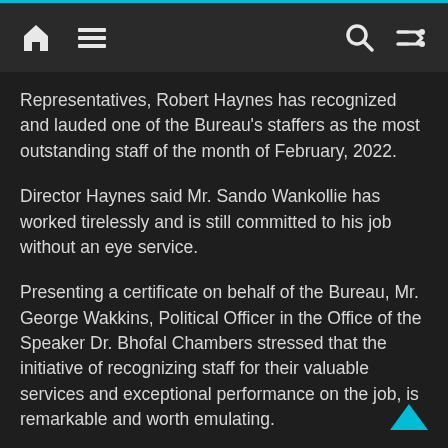Navigation bar with home, menu, search, and shuffle icons
Representatives, Robert Haynes has recognized and lauded one of the Bureau's staffers as the most outstanding staff of the month of February, 2022.
Director Haynes said Mr. Sando Wankollie has worked tirelessly and is still committed to his job without an eye service.
Presenting a certificate on behalf of the Bureau, Mr. George Wakkins, Political Officer in the Office of the Speaker Dr. Bhofal Chambers stressed that the initiative of recognizing staff for their valuable services and exceptional performance on the job, is remarkable and worth emulating.
At the same time, Director Robert Haynes has also encouraged other staffers of that august body Press Bureau to follow suit and always exhibit high level of